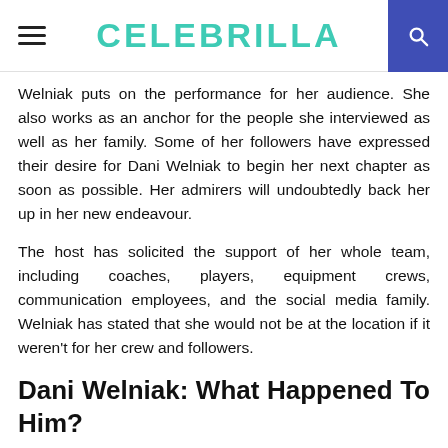CELEBRILLA
Welniak puts on the performance for her audience. She also works as an anchor for the people she interviewed as well as her family. Some of her followers have expressed their desire for Dani Welniak to begin her next chapter as soon as possible. Her admirers will undoubtedly back her up in her new endeavour.
The host has solicited the support of her whole team, including coaches, players, equipment crews, communication employees, and the social media family. Welniak has stated that she would not be at the location if it weren't for her crew and followers.
Dani Welniak: What Happened To Him?